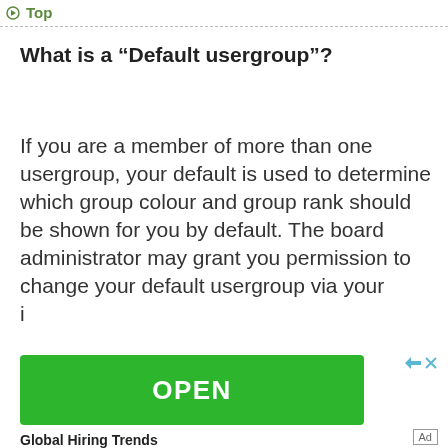Top
What is a “Default usergroup”?
If you are a member of more than one usergroup, your default is used to determine which group colour and group rank should be shown for you by default. The board administrator may grant you permission to change your default usergroup via your User Control Panel.
[Figure (other): Green OPEN button advertisement banner]
Global Hiring Trends
Ad